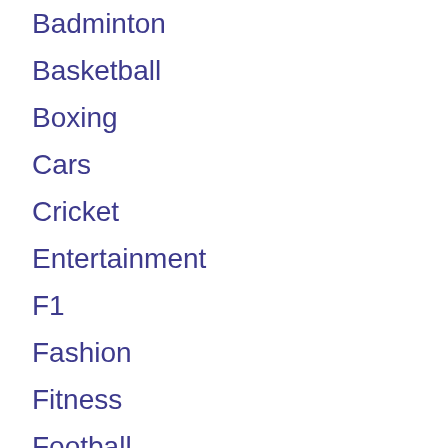Badminton
Basketball
Boxing
Cars
Cricket
Entertainment
F1
Fashion
Fitness
Football
Formula 1
Gear
General
Hockey